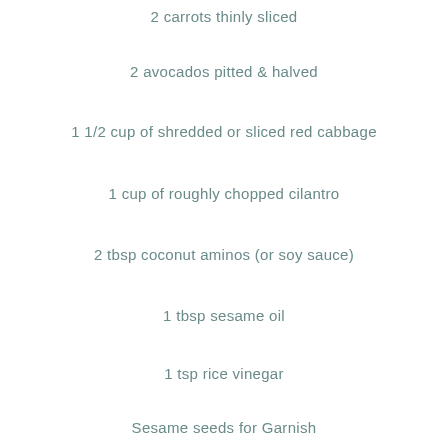2 carrots thinly sliced
2 avocados pitted & halved
1 1/2 cup of shredded or sliced red cabbage
1 cup of roughly chopped cilantro
2 tbsp coconut aminos (or soy sauce)
1 tbsp sesame oil
1 tsp rice vinegar
Sesame seeds for Garnish